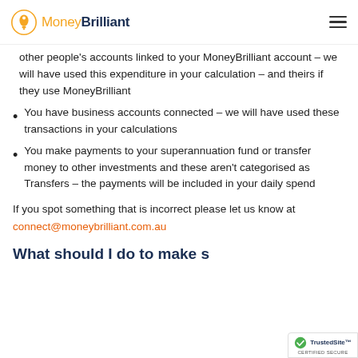MoneyBrilliant
other people's accounts linked to your MoneyBrilliant account – we will have used this expenditure in your calculation – and theirs if they use MoneyBrilliant
You have business accounts connected – we will have used these transactions in your calculations
You make payments to your superannuation fund or transfer money to other investments and these aren't categorised as Transfers – the payments will be included in your daily spend
If you spot something that is incorrect please let us know at connect@moneybrilliant.com.au
What should I do to make s